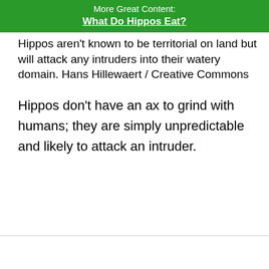More Great Content: What Do Hippos Eat?
Hippos aren't known to be territorial on land but will attack any intruders into their watery domain. Hans Hillewaert / Creative Commons
Hippos don't have an ax to grind with humans; they are simply unpredictable and likely to attack an intruder.